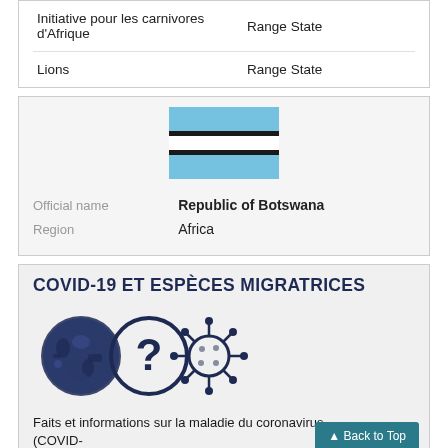| Initiative / Species | Status |
| --- | --- |
| Initiative pour les carnivores d'Afrique | Range State |
| Lions | Range State |
[Figure (illustration): Flag of Botswana: light blue stripe, black stripe, light blue stripe]
| Field | Value |
| --- | --- |
| Official name | Republic of Botswana |
| Region | Africa |
COVID-19 ET ESPÈCES MIGRATRICES
[Figure (infographic): Three icons: a circle filled with dark blue animal silhouettes, a circle with a question mark, and a coronavirus particle icon]
Faits et informations sur la maladie du coronavirus (COVID-